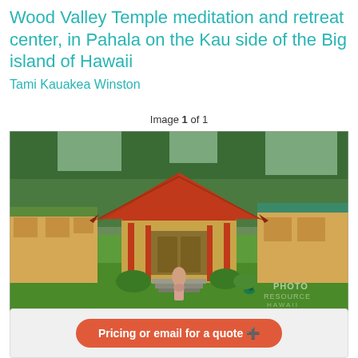Wood Valley Temple meditation and retreat center, in Pahala on the Kau side of the Big island of Hawaii
Tami Kauakea Winston
Image 1 of 1
[Figure (photo): Photograph of Wood Valley Temple, a traditional Asian-style building with an orange-red tiled roof and red pillars, set on a green lawn with trees behind it. A person in a pink kimono walks toward the temple entrance. Yellow residential buildings flank the temple on both sides. A watermark reading PHOTO RESOURCE HAWAII is visible in the lower right corner.]
Pricing or email for a quote